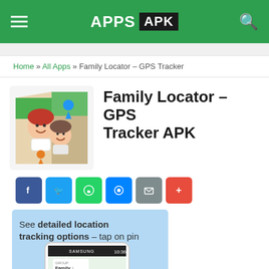APPS APK
Home » All Apps » Family Locator – GPS Tracker
Family Locator – GPS Tracker APK
[Figure (screenshot): App icon showing two cartoon characters (woman and child) with a map fold background and location pins]
[Figure (screenshot): Samsung smartphone screenshot showing the app with text: See detailed location tracking options – tap on pin, and a map view with Family group label]